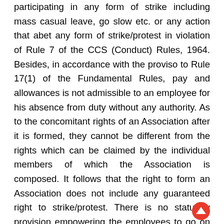participating in any form of strike including mass casual leave, go slow etc. or any action that abet any form of strike/protest in violation of Rule 7 of the CCS (Conduct) Rules, 1964. Besides, in accordance with the proviso to Rule 17(1) of the Fundamental Rules, pay and allowances is not admissible to an employee for his absence from duty without any authority. As to the concomitant rights of an Association after it is formed, they cannot be different from the rights which can be claimed by the individual members of which the Association is composed. It follows that the right to form an Association does not include any guaranteed right to strike/protest. There is no statutory provision empowering the employees to go on strike. The Supreme Court has also agreed in several judgments that going on a strike is a grave misconduct under the Conduct Rules and that misconduct by the Government employees is required to be dealt with in accordance with law. Any